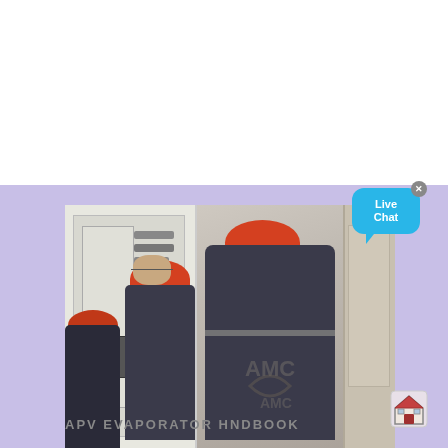[Figure (photo): Workers in AMC uniforms and red hard hats inspecting electrical control cabinets in an industrial facility. Two workers visible from behind, one from the side. AMC logo visible on jacket and as watermark. Blue 'Live Chat' speech bubble overlay in top-right corner. Purple/lavender background border around photo.]
APV EVAPORATOR HNDBOOK